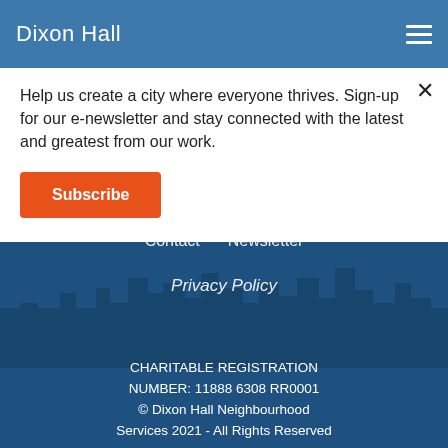Dixon Hall
Help us create a city where everyone thrives. Sign-up for our e-newsletter and stay connected with the latest and greatest from our work.
Subscribe
Contact   Newsletter

Privacy Policy

CHARITABLE REGISTRATION NUMBER: 11888 6308 RR0001
© Dixon Hall Neighbourhood Services 2021 - All Rights Reserved